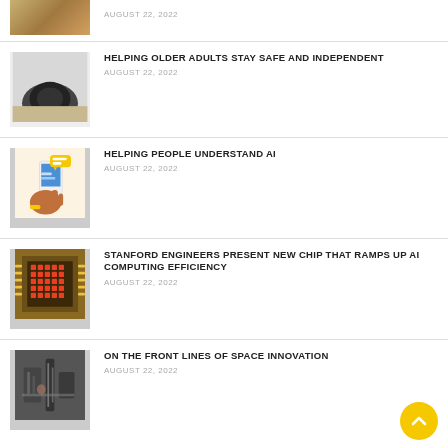[Figure (photo): Partial view of a previous article thumbnail - gold/brown colored item]
AUGUST 22, 2022
[Figure (photo): Black robotic wheel/motor device on white background]
HELPING OLDER ADULTS STAY SAFE AND INDEPENDENT
AUGUST 22, 2022
[Figure (illustration): Hands holding a smartphone with chat/AI interface, orange skin tone, yellow bracelet]
HELPING PEOPLE UNDERSTAND AI
AUGUST 22, 2022
[Figure (photo): Close-up of a computer chip with red/orange LED array on gold circuit board]
STANFORD ENGINEERS PRESENT NEW CHIP THAT RAMPS UP AI COMPUTING EFFICIENCY
AUGUST 22, 2022
[Figure (photo): Laboratory equipment / space innovation machinery]
ON THE FRONT LINES OF SPACE INNOVATION
AUGUST 22, 2022